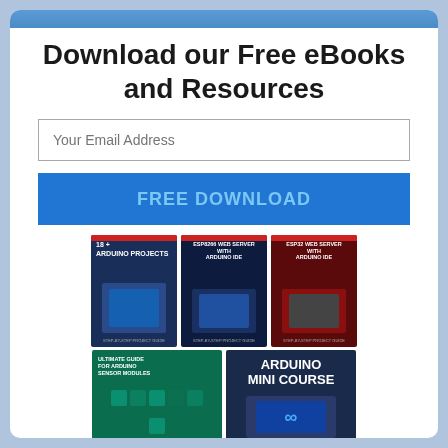Download our Free eBooks and Resources
Your Email Address
FREE DOWNLOAD
[Figure (illustration): Three Arduino/ESP eBook covers (18+ Arduino Projects, ESP8266 Web Server with Arduino IDE, ESP32 Web Server with Arduino IDE) and two more items: Ultimate Guide for Arduino Sensor Modules and Arduino Mini Course]